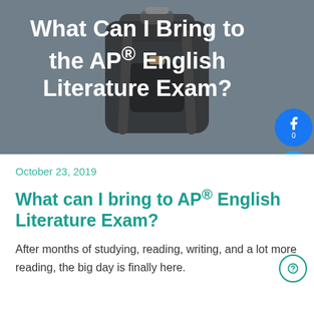[Figure (photo): Hero banner image showing a dark backpack against a blurred room background with a gray/blue overlay. White bold title text overlaid: 'What Can I Bring to the AP® English Literature Exam?']
What Can I Bring to the AP® English Literature Exam?
October 23, 2019
What can I bring to AP® English Literature Exam?
After months of studying, reading, writing, and a lot more reading, the big day is finally here.